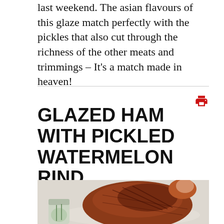last weekend. The asian flavours of this glaze match perfectly with the pickles that also cut through the richness of the other meats and trimmings – It's a match made in heaven!
GLAZED HAM WITH PICKLED WATERMELON RIND
[Figure (photo): A glazed ham with a golden-brown caramelized crust, served on a platter, with a small jar visible on the lower left.]